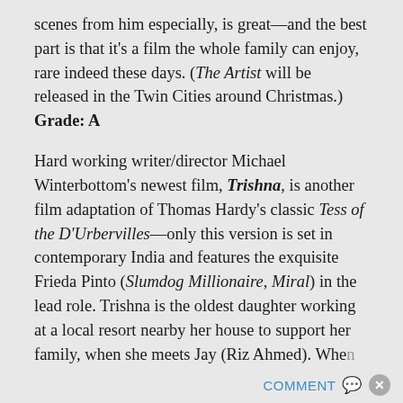scenes from him especially, is great—and the best part is that it's a film the whole family can enjoy, rare indeed these days. (The Artist will be released in the Twin Cities around Christmas.) Grade: A
Hard working writer/director Michael Winterbottom's newest film, Trishna, is another film adaptation of Thomas Hardy's classic Tess of the D'Urbervilles—only this version is set in contemporary India and features the exquisite Frieda Pinto (Slumdog Millionaire, Miral) in the lead role. Trishna is the oldest daughter working at a local resort nearby her house to support her family, when she meets Jay (Riz Ahmed). Whe...
COMMENT